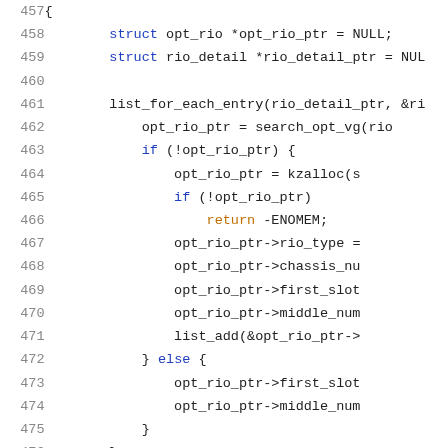[Figure (screenshot): Source code listing showing lines 457-478 of a C program with syntax highlighting. Line numbers in gray on the left, code with colored keywords (blue for struct/if/else, orange for return), identifiers in dark, and function calls in purple/dark.]